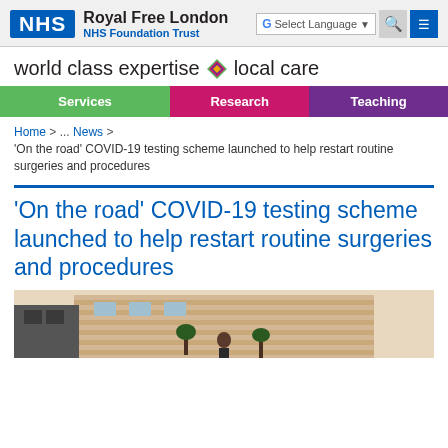Royal Free London NHS Foundation Trust — NHS website header with language selector, search, and menu buttons
world class expertise ◆ local care
Services | Research | Teaching
Home > ... News > 'On the road' COVID-19 testing scheme launched to help restart routine surgeries and procedures
'On the road' COVID-19 testing scheme launched to help restart routine surgeries and procedures
[Figure (photo): Exterior photo of a modern hospital building with a person standing in front]